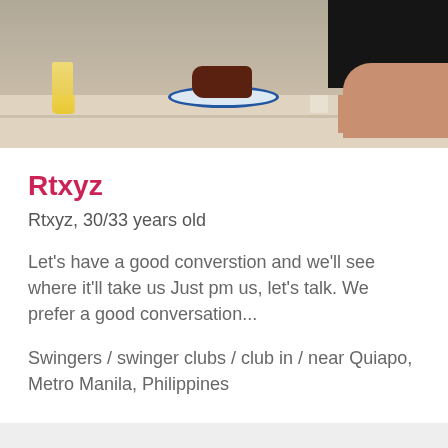[Figure (photo): Top portion of a photo showing a table scene with food on a blue-rimmed plate, a glass of orange juice, and a person in a dark shirt with their arm visible on the right side.]
Rtxyz
Rtxyz, 30/33 years old
Let's have a good converstion and we'll see where it'll take us Just pm us, let's talk. We prefer a good conversation...
Swingers / swinger clubs / club in / near Quiapo, Metro Manila, Philippines
[Figure (photo): Bottom portion of a photo showing a person's bare back with colorful bands/clothing at the top and tiled floor visible at the bottom.]